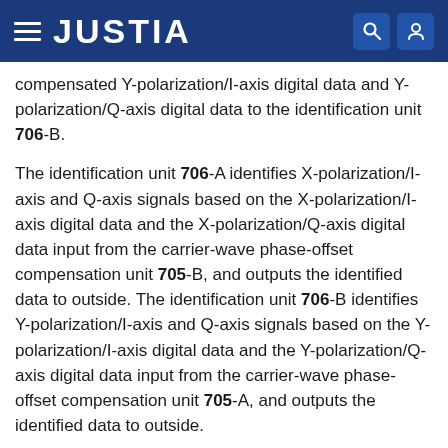JUSTIA
compensated Y-polarization/I-axis digital data and Y-polarization/Q-axis digital data to the identification unit 706-B.
The identification unit 706-A identifies X-polarization/I-axis and Q-axis signals based on the X-polarization/I-axis digital data and the X-polarization/Q-axis digital data input from the carrier-wave phase-offset compensation unit 705-B, and outputs the identified data to outside. The identification unit 706-B identifies Y-polarization/I-axis and Q-axis signals based on the Y-polarization/I-axis digital data and the Y-polarization/Q-axis digital data input from the carrier-wave phase-offset compensation unit 705-A, and outputs the identified data to outside.
In the above descriptions, such an example has been explained that CW light is output from the local oscillator light source. CW light is used...